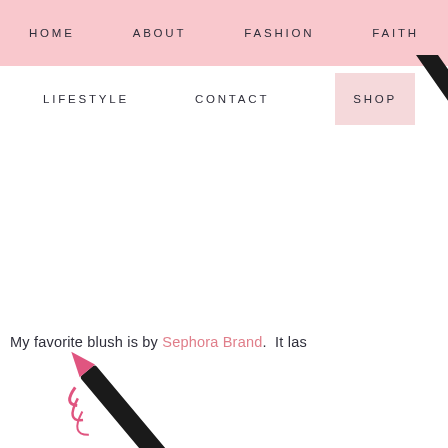HOME   ABOUT   FASHION   FAITH
LIFESTYLE   CONTACT   SHOP
[Figure (photo): Black makeup brush angled diagonally from upper right, partially cropped at right edge]
My favorite blush is by Sephora Brand.  It las
[Figure (photo): Pink lip liner pencil with shavings, partially cropped at bottom left]